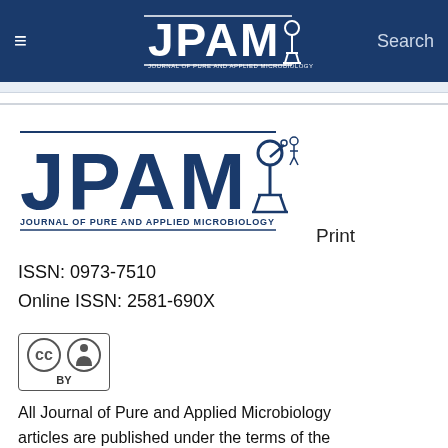≡  JPAM Journal of Pure and Applied Microbiology  Search
[Figure (logo): JPAM Journal of Pure and Applied Microbiology logo with microscope icon, dark blue text on white background, with subtitle JOURNAL OF PURE AND APPLIED MICROBIOLOGY]
Print
ISSN: 0973-7510
Online ISSN: 2581-690X
[Figure (logo): Creative Commons BY license badge]
All Journal of Pure and Applied Microbiology articles are published under the terms of the